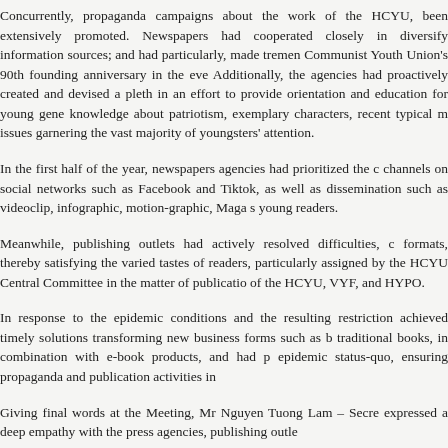Concurrently, propaganda campaigns about the work of the HCYU, been extensively promoted. Newspapers had cooperated closely in diversify information sources; and had particularly, made tremen Communist Youth Union's 90th founding anniversary in the eve Additionally, the agencies had proactively created and devised a pleth in an effort to provide orientation and education for young gene knowledge about patriotism, exemplary characters, recent typical m issues garnering the vast majority of youngsters' attention.
In the first half of the year, newspapers agencies had prioritized the c channels on social networks such as Facebook and Tiktok, as well as dissemination such as videoclip, infographic, motion-graphic, Maga s young readers.
Meanwhile, publishing outlets had actively resolved difficulties, c formats, thereby satisfying the varied tastes of readers, particularly assigned by the HCYU Central Committee in the matter of publicatio of the HCYU, VYF, and HYPO.
In response to the epidemic conditions and the resulting restriction achieved timely solutions transforming new business forms such as b traditional books, in combination with e-book products, and had p epidemic status-quo, ensuring propaganda and publication activities in
Giving final words at the Meeting, Mr Nguyen Tuong Lam – Secre expressed a deep empathy with the press agencies, publishing outle